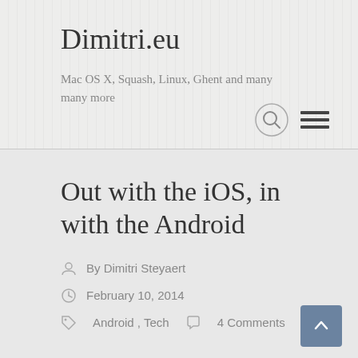Dimitri.eu
Mac OS X, Squash, Linux, Ghent and many many more
Out with the iOS, in with the Android
By Dimitri Steyaert
February 10, 2014
Android, Tech   4 Comments